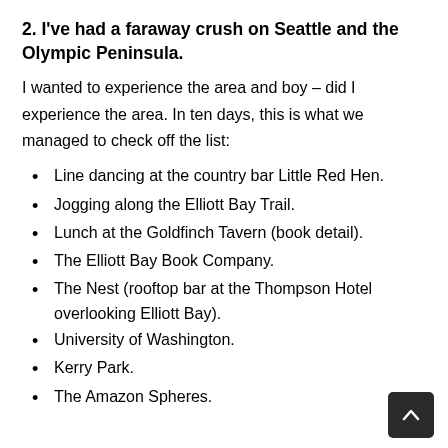2. I've had a faraway crush on Seattle and the Olympic Peninsula.
I wanted to experience the area and boy – did I experience the area. In ten days, this is what we managed to check off the list:
Line dancing at the country bar Little Red Hen.
Jogging along the Elliott Bay Trail.
Lunch at the Goldfinch Tavern (book detail).
The Elliott Bay Book Company.
The Nest (rooftop bar at the Thompson Hotel overlooking Elliott Bay).
University of Washington.
Kerry Park.
The Amazon Spheres.